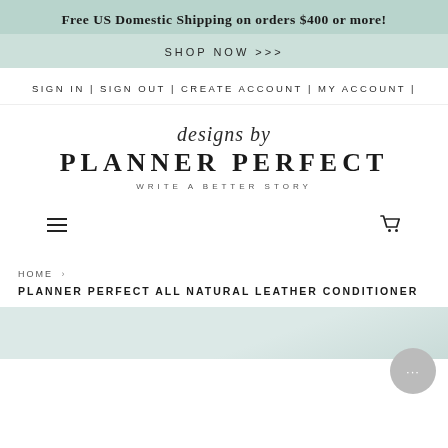Free US Domestic Shipping on orders $400 or more!
SHOP NOW >>>
SIGN IN | SIGN OUT | CREATE ACCOUNT | MY ACCOUNT |
[Figure (logo): Designs by Planner Perfect logo with script 'designs by' above block letters 'PLANNER PERFECT' and tagline 'WRITE A BETTER STORY']
[Figure (other): Hamburger menu icon on the left and shopping cart icon on the right]
HOME › PLANNER PERFECT ALL NATURAL LEATHER CONDITIONER
[Figure (photo): Partial product image at bottom of page, light bluish-grey background]